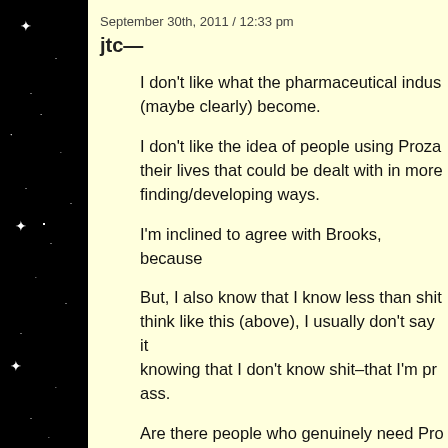September 30th, 2011 / 12:33 pm
jtc—
I don't like what the pharmaceutical indus (maybe clearly) become.
I don't like the idea of people using Proza their lives that could be dealt with in more finding/developing ways.
I'm inclined to agree with Brooks, because
But, I also know that I know less than shit think like this (above), I usually don't say it knowing that I don't know shit–that I'm pr ass.
Are there people who genuinely need Pro that they have the opportunity to receive medication? And was Emily Dickinson actu weirdo? [nothing wrong with weirdos]